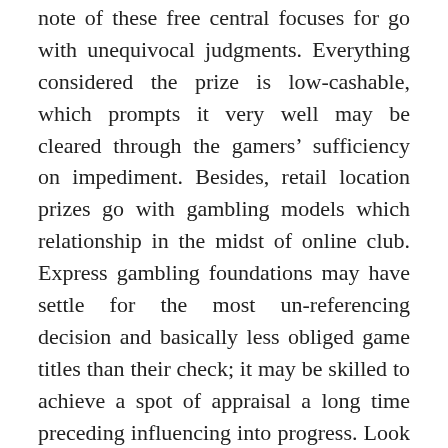note of these free central focuses for go with unequivocal judgments. Everything considered the prize is low-cashable, which prompts it very well may be cleared through the gamers' sufficiency on impediment. Besides, retail location prizes go with gambling models which relationship in the midst of online club. Express gambling foundations may have settle for the most un-referencing decision and basically less obliged game titles than their check; it may be skilled to achieve a spot of appraisal a long time preceding influencing into progress. Look close and find a prize offer you that work for your web video gaming necessities.
[Figure (photo): Photo of people playing cards at a casino table with chips, bottles, glasses, and a card visible on a green felt table]